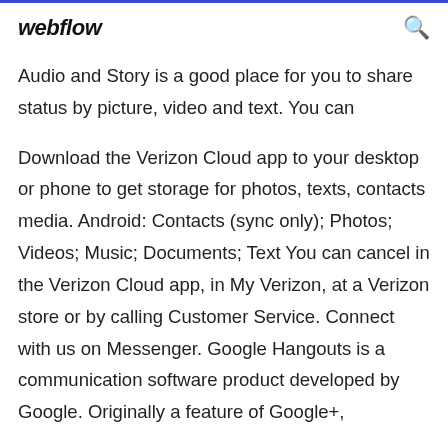webflow
Audio and Story is a good place for you to share status by picture, video and text. You can
Download the Verizon Cloud app to your desktop or phone to get storage for photos, texts, contacts media. Android: Contacts (sync only); Photos; Videos; Music; Documents; Text You can cancel in the Verizon Cloud app, in My Verizon, at a Verizon store or by calling Customer Service. Connect with us on Messenger. Google Hangouts is a communication software product developed by Google. Originally a feature of Google+, ...